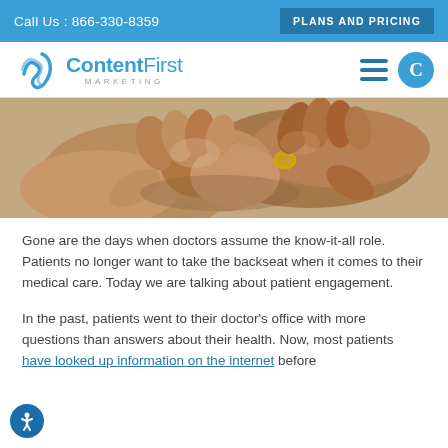Call Us : 866-330-8359 | PLANS AND PRICING
[Figure (logo): ContentFirst Marketing logo with wave/C icon]
[Figure (photo): Close-up of two people shaking hands, one wearing a gold ring]
Gone are the days when doctors assume the know-it-all role. Patients no longer want to take the backseat when it comes to their medical care. Today we are talking about patient engagement.
In the past, patients went to their doctor’s office with more questions than answers about their health. Now, most patients have looked up information on the internet before